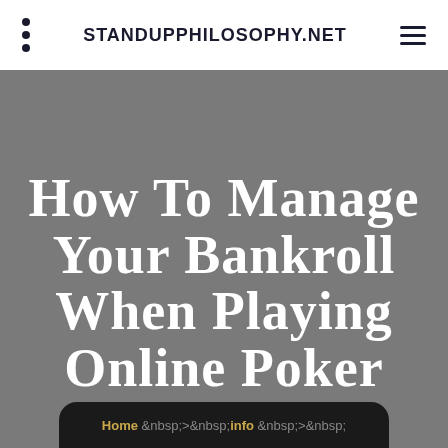STANDUPPHILOSOPHY.NET
How to Manage Your Bankroll When Playing Online Poker
Home &nbsp;>&nbsp;info &nbsp;>&nbsp;